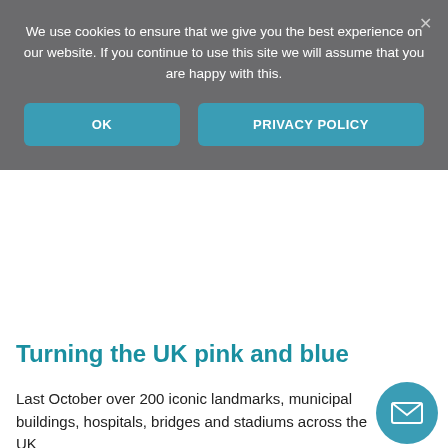We use cookies to ensure that we give you the best experience on our website. If you continue to use this site we will assume that you are happy with this.
OK
PRIVACY POLICY
Turning the UK pink and blue
Last October over 200 iconic landmarks, municipal buildings, hospitals, bridges and stadiums across the UK